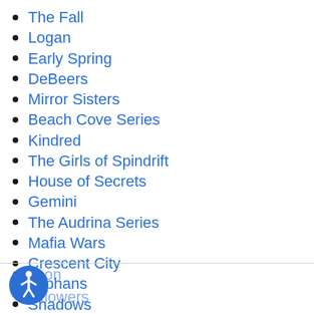The Fall
Logan
Early Spring
DeBeers
Mirror Sisters
Beach Cove Series
Kindred
The Girls of Spindrift
House of Secrets
Gemini
The Audrina Series
Mafia Wars
Crescent City
Orphans
Shadows
Hudson
Wildflowers